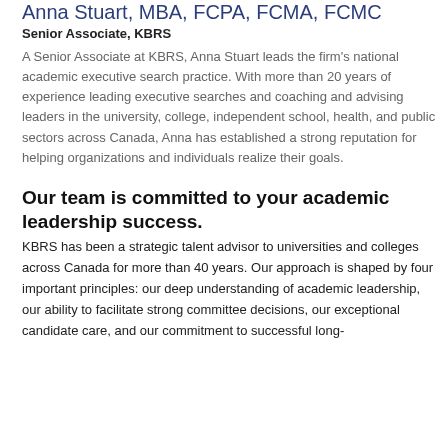Anna Stuart, MBA, FCPA, FCMA, FCMC
Senior Associate, KBRS
A Senior Associate at KBRS, Anna Stuart leads the firm's national academic executive search practice. With more than 20 years of experience leading executive searches and coaching and advising leaders in the university, college, independent school, health, and public sectors across Canada, Anna has established a strong reputation for helping organizations and individuals realize their goals.
Our team is committed to your academic leadership success.
KBRS has been a strategic talent advisor to universities and colleges across Canada for more than 40 years. Our approach is shaped by four important principles: our deep understanding of academic leadership, our ability to facilitate strong committee decisions, our exceptional candidate care, and our commitment to successful long-